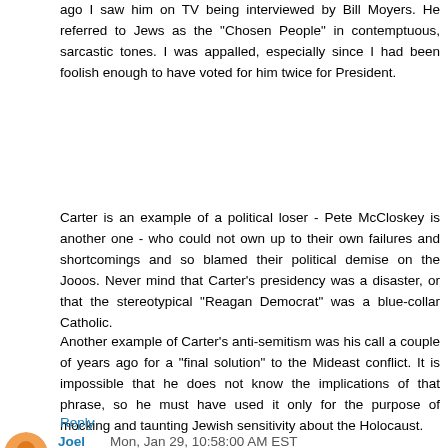ago I saw him on TV being interviewed by Bill Moyers. He referred to Jews as the "Chosen People" in contemptuous, sarcastic tones. I was appalled, especially since I had been foolish enough to have voted for him twice for President.
Carter is an example of a political loser - Pete McCloskey is another one - who could not own up to their own failures and shortcomings and so blamed their political demise on the Jooos. Never mind that Carter's presidency was a disaster, or that the stereotypical "Reagan Democrat" was a blue-collar Catholic.
Another example of Carter's anti-semitism was his call a couple of years ago for a "final solution" to the Mideast conflict. It is impossible that he does not know the implications of that phrase, so he must have used it only for the purpose of mocking and taunting Jewish sensitivity about the Holocaust.
Reply
Joel Mon, Jan 29, 10:58:00 AM EST